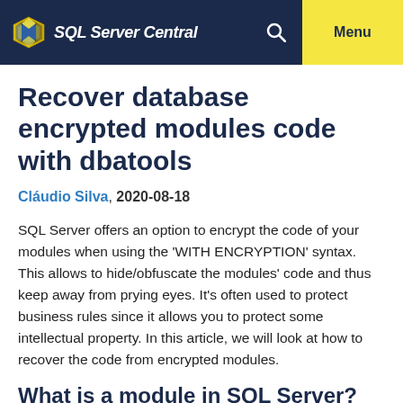SQL Server Central  Menu
Recover database encrypted modules code with dbatools
Cláudio Silva, 2020-08-18
SQL Server offers an option to encrypt the code of your modules when using the 'WITH ENCRYPTION' syntax. This allows to hide/obfuscate the modules' code and thus keep away from prying eyes. It's often used to protect business rules since it allows you to protect some intellectual property. In this article, we will look at how to recover the code from encrypted modules.
What is a module in SQL Server?